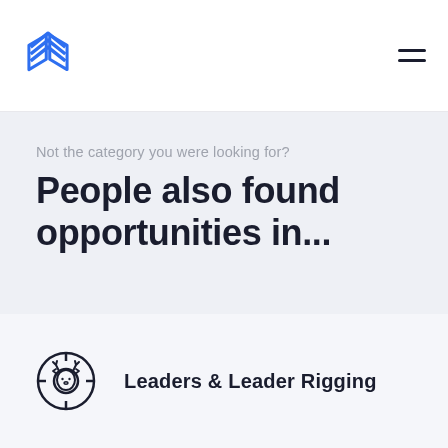[Figure (logo): Blue geometric logo mark — overlapping diamond/shield shapes in blue outline]
[Figure (illustration): Hamburger menu icon — two horizontal lines]
Not the category you were looking for?
People also found opportunities in...
[Figure (illustration): Circular icon with a deer/stag head face and crosshair/target lines]
Leaders & Leader Rigging